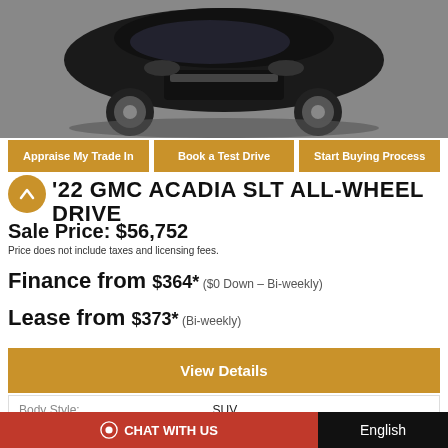[Figure (photo): Black GMC Acadia SUV parked on a grey asphalt surface, viewed from a slightly elevated front-three-quarter angle showing wheels and front grille.]
Appraise My Trade In
Book a Test Drive
Start Buying Process
'22 GMC ACADIA SLT ALL-WHEEL DRIVE
Sale Price: $56,752
Price does not include taxes and licensing fees.
Finance from  $364* ($0 Down – Bi-weekly)
Lease from  $373* (Bi-weekly)
View Details
|  |  |
| --- | --- |
| Body Style: | SUV |
| Engine: | 3.6L 6cyl |
| Exterior Colour: |  |